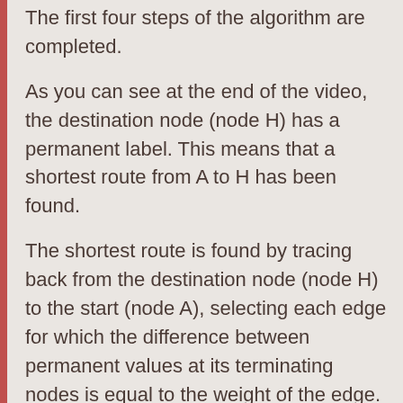The first four steps of the algorithm are completed.
As you can see at the end of the video, the destination node (node H) has a permanent label. This means that a shortest route from A to H has been found.
The shortest route is found by tracing back from the destination node (node H) to the start (node A), selecting each edge for which the difference between permanent values at its terminating nodes is equal to the weight of the edge. The shortest routes for this network are shown in figure 3 below. The edges shown in green (AB and BC) are an alternative to the edge AC shown in red. In this case there are two equivalent shortest